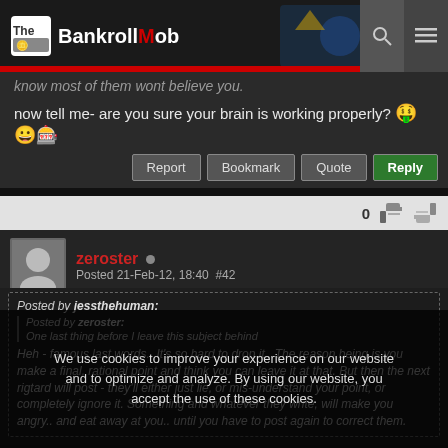The BankrollMob
know most of them wont believe you.
now tell me- are you sure your brain is working properly? 🤑
Report | Bookmark | Quote | Reply
0 [thumbs up] [thumbs down]
zeroster • Posted 21-Feb-12, 18:40  #42
Posted by jessthehuman:
Posted by zeroster:
One last thing before I leave this subject behind
Heh - famous last words.. It's so hard to drop it.. The reason being is you make a final, rational point and think you can leave it at that. But then the next rigtard will post - they'll either just lie, or mis-understand your point, or completely ignore it. Something and whatever they write, will make you angry.. and eat away at you.. until you have to post again to correct them.